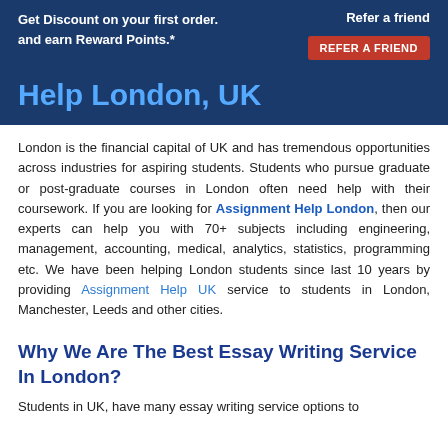Get Discount on your first order. Refer a friend and earn Reward Points.* REFER A FRIEND
Help London, UK
London is the financial capital of UK and has tremendous opportunities across industries for aspiring students. Students who pursue graduate or post-graduate courses in London often need help with their coursework. If you are looking for Assignment Help London, then our experts can help you with 70+ subjects including engineering, management, accounting, medical, analytics, statistics, programming etc. We have been helping London students since last 10 years by providing Assignment Help UK service to students in London, Manchester, Leeds and other cities.
Why We Are The Best Essay Writing Service In London?
Students in UK, have many essay writing service options to